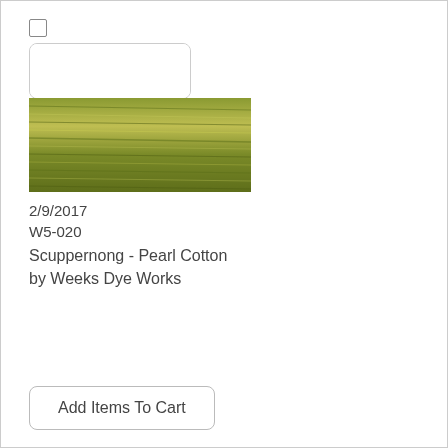[Figure (screenshot): Product listing with checkbox, white image placeholder box, and olive/green yarn texture image below it]
2/9/2017
W5-020
Scuppernong - Pearl Cotton by Weeks Dye Works
Add Items To Cart
Search Again
Page 1 of 4
1  2  3  4  »